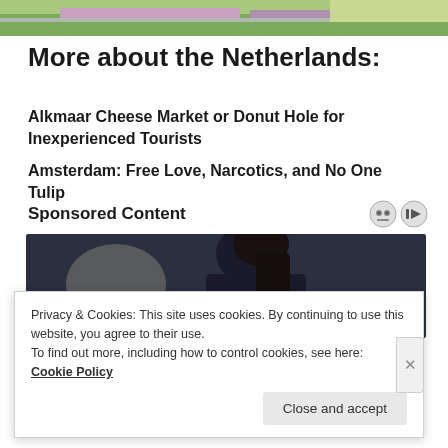[Figure (photo): Cropped top portion of a landscape photo showing fields and sky]
More about the Netherlands:
Alkmaar Cheese Market or Donut Hole for Inexperienced Tourists
Amsterdam: Free Love, Narcotics, and No One Tulip
Sponsored Content
[Figure (photo): Woman in dark clothing working at a desk with a laptop]
Privacy & Cookies: This site uses cookies. By continuing to use this website, you agree to their use. To find out more, including how to control cookies, see here: Cookie Policy
Close and accept